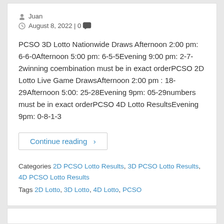Juan
August 8, 2022 | 0
PCSO 3D Lotto Nationwide Draws Afternoon 2:00 pm: 6-6-0Afternoon 5:00 pm: 6-5-5Evening 9:00 pm: 2-7-2winning coembination must be in exact orderPCSO 2D Lotto Live Game DrawsAfternoon 2:00 pm : 18-29Afternoon 5:00: 25-28Evening 9pm: 05-29numbers must be in exact orderPCSO 4D Lotto ResultsEvening 9pm: 0-8-1-3
Continue reading >
Categories 2D PCSO Lotto Results, 3D PCSO Lotto Results, 4D PCSO Lotto Results
Tags 2D Lotto, 3D Lotto, 4D Lotto, PCSO